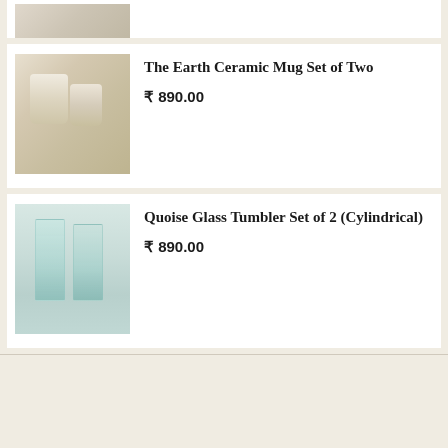[Figure (photo): Partial product image at top of page, cropped]
The Earth Ceramic Mug Set of Two
₹ 890.00
[Figure (photo): Two ceramic mugs on a table with blueberries]
Quoise Glass Tumbler Set of 2 (Cylindrical)
₹ 890.00
[Figure (photo): Two cylindrical glass tumblers with water on a white surface]